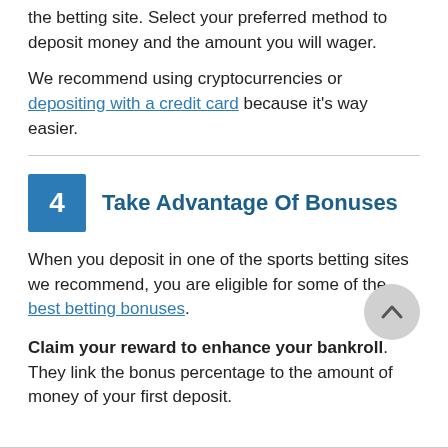the betting site. Select your preferred method to deposit money and the amount you will wager.
We recommend using cryptocurrencies or depositing with a credit card because it's way easier.
4  Take Advantage Of Bonuses
When you deposit in one of the sports betting sites we recommend, you are eligible for some of the best betting bonuses.
Claim your reward to enhance your bankroll. They link the bonus percentage to the amount of money of your first deposit.